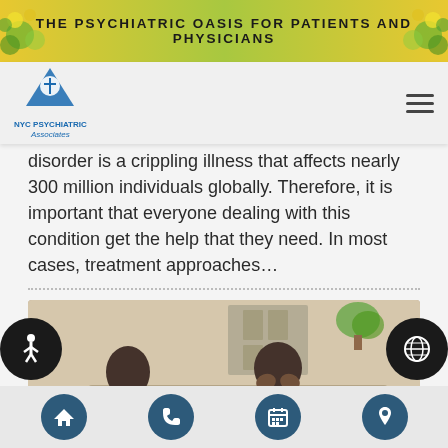THE PSYCHIATRIC OASIS FOR PATIENTS AND PHYSICIANS
[Figure (logo): NYC Psychiatric Associates logo with caduceus/medical symbol in blue]
disorder is a crippling illness that affects nearly 300 million individuals globally. Therefore, it is important that everyone dealing with this condition get the help that they need. In most cases, treatment approaches…
[Figure (photo): A man sitting on a couch with his hands pressed to his face in distress, while a female therapist in white sits across from him holding a notepad. Therapy session setting.]
Navigation icons: home, phone, calendar, location